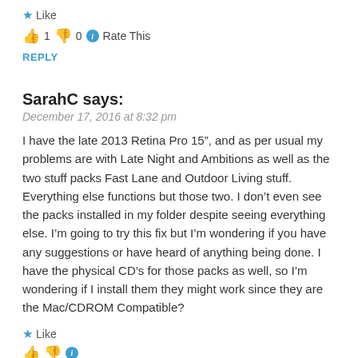★ Like
👍 1 👎 0 ℹ Rate This
REPLY
SarahC says:
December 17, 2016 at 8:32 pm
I have the late 2013 Retina Pro 15", and as per usual my problems are with Late Night and Ambitions as well as the two stuff packs Fast Lane and Outdoor Living stuff. Everything else functions but those two. I don't even see the packs installed in my folder despite seeing everything else. I'm going to try this fix but I'm wondering if you have any suggestions or have heard of anything being done. I have the physical CD's for those packs as well, so I'm wondering if I install them they might work since they are the Mac/CDROM Compatible?
★ Like